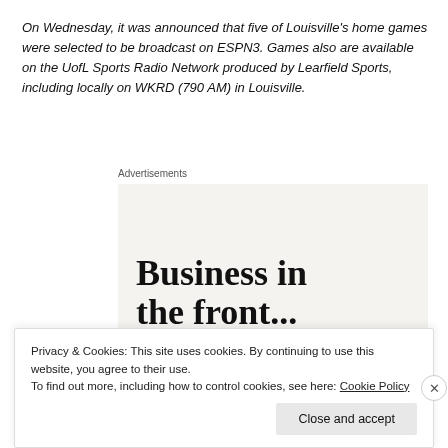On Wednesday, it was announced that five of Louisville's home games were selected to be broadcast on ESPN3. Games also are available on the UofL Sports Radio Network produced by Learfield Sports, including locally on WKRD (790 AM) in Louisville.
Advertisements
[Figure (illustration): Advertisement banner with two sections: top section on light beige background reading 'Business in the front...' in large bold serif font; bottom section on orange-pink gradient background with decorative bubbles reading 'WordPress in the back.' in large bold serif font.]
Privacy & Cookies: This site uses cookies. By continuing to use this website, you agree to their use.
To find out more, including how to control cookies, see here: Cookie Policy
Close and accept